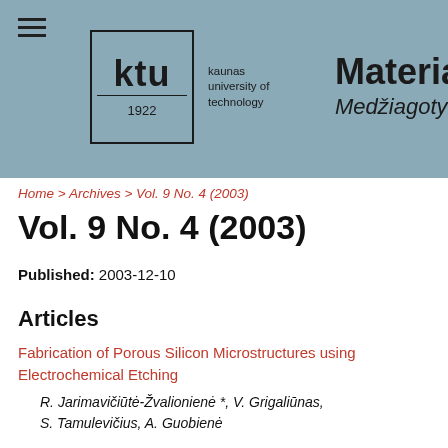[Figure (logo): KTU (Kaunas University of Technology) logo with 'ktu' text, year 1922, and 'Materials Science / Medžiagotyra' journal title on a steel-blue banner background]
Home > Archives > Vol. 9 No. 4 (2003)
Vol. 9 No. 4 (2003)
Published: 2003-12-10
Articles
Fabrication of Porous Silicon Microstructures using Electrochemical Etching
R. Jarimavičiūtė-Žvalionienė *, V. Grigaliūnas, S. Tamulevičius, A. Guobienė